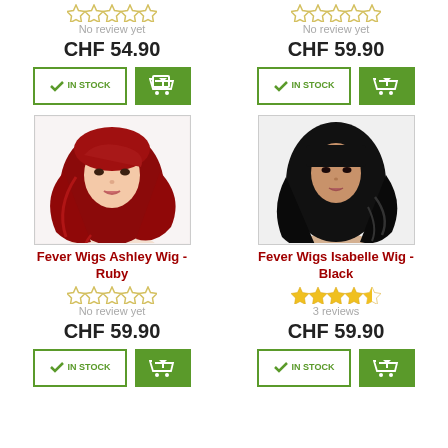[Figure (other): Stars rating (2.5/5, unfilled) for top-left product]
No review yet
CHF 54.90
[Figure (other): IN STOCK button and cart button for top-left product]
[Figure (other): Stars rating (2.5/5, unfilled) for top-right product]
No review yet
CHF 59.90
[Figure (other): IN STOCK button and cart button for top-right product]
[Figure (photo): Woman with long red/ruby wavy hair wearing a Fever Wigs Ashley wig]
Fever Wigs Ashley Wig - Ruby
[Figure (other): Stars rating (2.5/5, unfilled) for Fever Wigs Ashley Wig - Ruby]
No review yet
CHF 59.90
[Figure (other): IN STOCK button and cart button for Fever Wigs Ashley Wig - Ruby]
[Figure (photo): Woman with long black wavy hair wearing a Fever Wigs Isabelle wig]
Fever Wigs Isabelle Wig - Black
[Figure (other): Stars rating (4.5/5, filled yellow) for Fever Wigs Isabelle Wig - Black]
3 reviews
CHF 59.90
[Figure (other): IN STOCK button and cart button for Fever Wigs Isabelle Wig - Black]